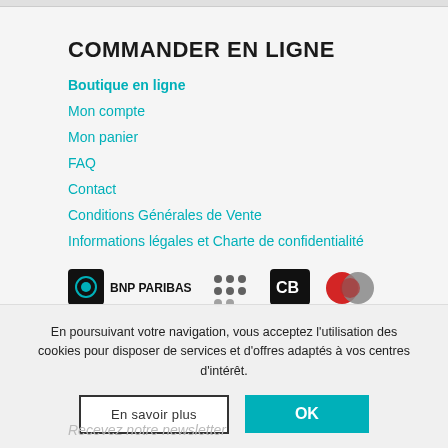COMMANDER EN LIGNE
Boutique en ligne
Mon compte
Mon panier
FAQ
Contact
Conditions Générales de Vente
Informations légales et Charte de confidentialité
[Figure (logo): Payment logos: BNP Paribas, dot pattern, CB, Mastercard]
En poursuivant votre navigation, vous acceptez l'utilisation des cookies pour disposer de services et d'offres adaptés à vos centres d'intérêt.
En savoir plus | OK
Recevez notre newsletter